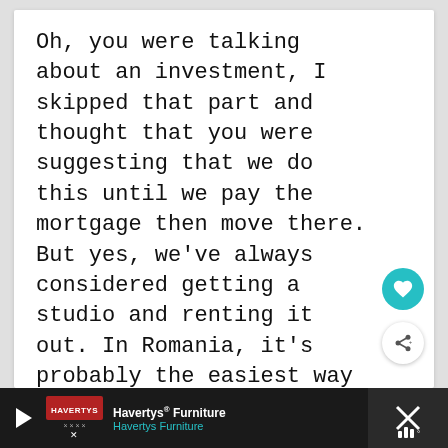Oh, you were talking about an investment, I skipped that part and thought that you were suggesting that we do this until we pay the mortgage then move there. But yes, we've always considered getting a studio and renting it out. In Romania, it's probably the easiest way to invest since our stock market is lethargic at most 🙂
[Figure (screenshot): Advertisement bar at the bottom: Havertys Furniture ad with logo, name, teal subtitle text, navigation arrow icon, and a close button area on a dark background.]